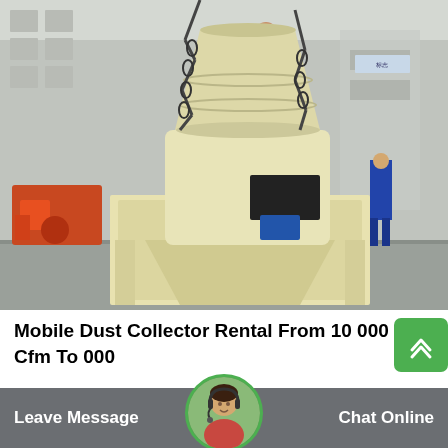[Figure (photo): Industrial cyclone dust collector machine in cream/beige color being lifted by chains in a manufacturing facility. Workers in blue uniforms visible. Other industrial equipment visible in background.]
Mobile Dust Collector Rental From 10 000 Cfm To 000
Operational concerns about conventional mobile dust collectors. Ducting inlets are located high above the ground at the top of the...
Leave Message
Chat Online